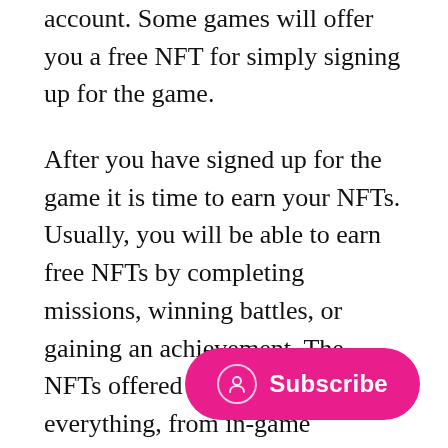account. Some games will offer you a free NFT for simply signing up for the game.
After you have signed up for the game it is time to earn your NFTs. Usually, you will be able to earn free NFTs by completing missions, winning battles, or gaining an achievement. The NFTs offered could include everything, from in-game weapons to skins or other items that are used in the game.
This means that the NFTs that you can get for free will only have value for those who play the game. Therefore, it is a good idea to get started with big games such as Axie Infinity. This will give you a m… to gain something of value when sellin… secondary market.